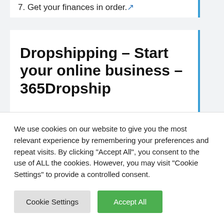7. Get your finances in order.
Dropshipping – Start your online business – 365Dropship
Sep 9, 2020The greatest advantage of dropshipping is that you don't need much money or
We use cookies on our website to give you the most relevant experience by remembering your preferences and repeat visits. By clicking "Accept All", you consent to the use of ALL the cookies. However, you may visit "Cookie Settings" to provide a controlled consent.